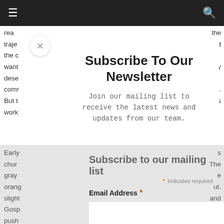☰  [menu icon] ... [search icon]
rea... the
traje... and
the c...
want... hey
dese...
comm... red.
But t... his
work
[Figure (screenshot): Newsletter subscription modal popup with title 'Subscribe To Our Newsletter', subtitle 'Join our mailing list to receive the latest news and updates from our team.', and a close (X) button.]
Subscribe to our mailing list
* indicates required
Email Address *
Early...
chur... s
gray... The
orang... e
sligh... ut.
Gosp... and
push... n